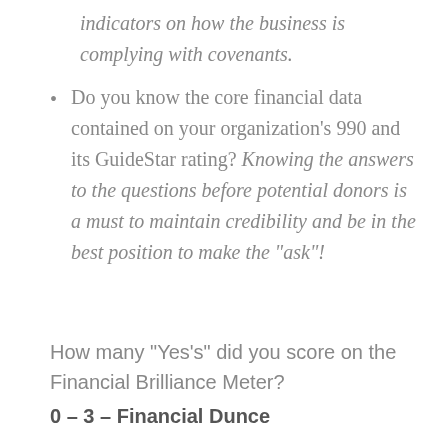indicators on how the business is complying with covenants.
Do you know the core financial data contained on your organization’s 990 and its GuideStar rating? Knowing the answers to the questions before potential donors is a must to maintain credibility and be in the best position to make the “ask”!
How many “Yes’s” did you score on the Financial Brilliance Meter?
0 – 3 – Financial Dunce